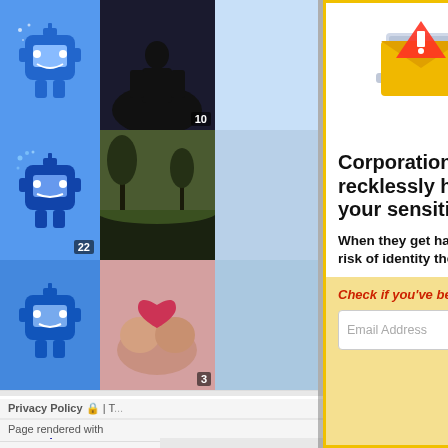[Figure (screenshot): Desktop Nexus website background showing wallpaper thumbnail grid with blue robot mascot icons and photo thumbnails with badge numbers 10, 22, 3]
[Figure (illustration): Popup ad illustration showing a laptop with envelope, warning triangle, magnet, filing cabinet, and a hacker figure on a red/white background]
Corporations are recklessly hoarding your sensitive data!
When they get hacked, you’re at risk of identity theft or worse!
Check if you've been compromised:
Email Address
FREE SCAN
Desktop Nexus
Home
About Us
Popular Wallpapers
Popular Tags
Community Stats
Member List
Contact Us
Privacy Policy 🔒 | T...
Page rendered with